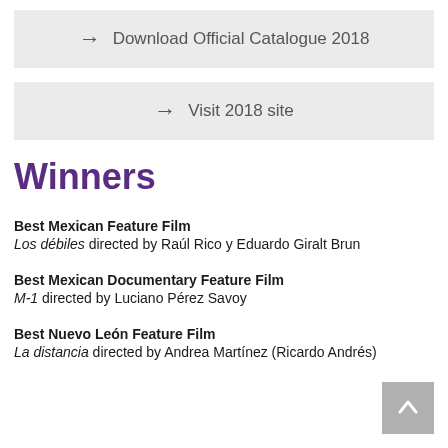→ Download Official Catalogue 2018
→ Visit 2018 site
Winners
Best Mexican Feature Film
Los débiles directed by Raúl Rico y Eduardo Giralt Brun
Best Mexican Documentary Feature Film
M-1 directed by Luciano Pérez Savoy
Best Nuevo León Feature Film
La distancia directed by Andrea Martínez (Ricardo Andrés)